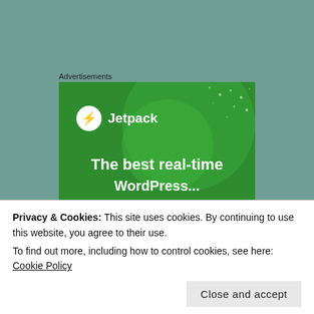[Figure (screenshot): Jetpack advertisement banner with green background showing the Jetpack logo and text 'The best real-time WordPress...']
Waterstones  Amazon.co.uk
I really enjoyed 'Don't Close your Eyes' by this author and I also love
Privacy & Cookies: This site uses cookies. By continuing to use this website, you agree to their use.
To find out more, including how to control cookies, see here: Cookie Policy
Close and accept